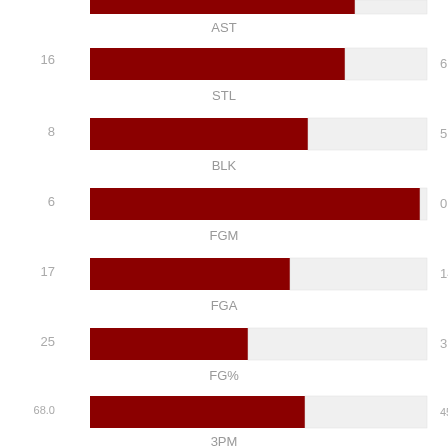[Figure (bar-chart): Basketball Stats Comparison]